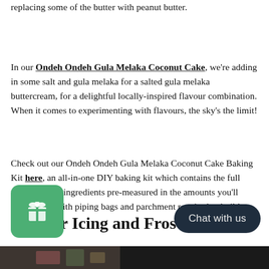replacing some of the butter with peanut butter.
In our Ondeh Ondeh Gula Melaka Coconut Cake, we're adding in some salt and gula melaka for a salted gula melaka buttercream, for a delightful locally-inspired flavour combination. When it comes to experimenting with flavours, the sky's the limit!
Check out our Ondeh Ondeh Gula Melaka Coconut Cake Baking Kit here, an all-in-one DIY baking kit which contains the full recipe, all the ingredients pre-measured in the amounts you'll need, along with piping bags and parchment required to build your first cake.
Tips for Icing and Frosting
[Figure (photo): Photo strip at bottom of page showing cake decoration]
[Figure (other): Green gift icon widget button]
[Figure (other): Dark Chat with us button widget]